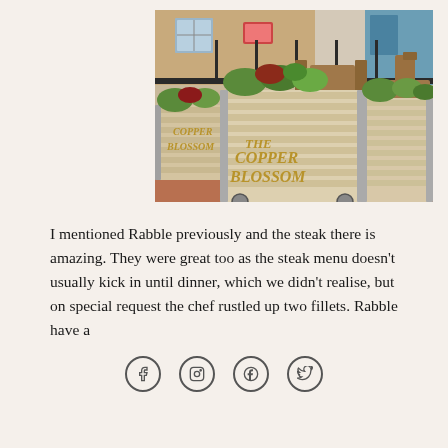[Figure (photo): Outdoor patio/beer garden of The Copper Blossom restaurant, showing wooden crates labeled 'COPPER BLOSSOM' filled with plants and herbs, with wooden chairs and tables in the background, brick building visible.]
I mentioned Rabble previously and the steak there is amazing. They were great too as the steak menu doesn't usually kick in until dinner, which we didn't realise, but on special request the chef rustled up two fillets. Rabble have a